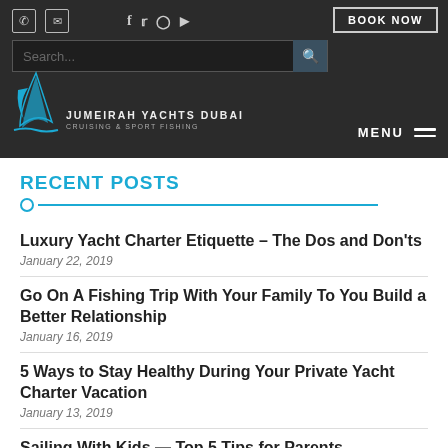[Figure (logo): Jumeirah Yachts Dubai cruising & sport fishing logo with sail graphic]
BOOK NOW | MENU | Search bar | Social icons
RECENT POSTS
Luxury Yacht Charter Etiquette – The Dos and Don'ts
January 22, 2019
Go On A Fishing Trip With Your Family To You Build a Better Relationship
January 16, 2019
5 Ways to Stay Healthy During Your Private Yacht Charter Vacation
January 13, 2019
Sailing With Kids — Top 5 Tips for Parents